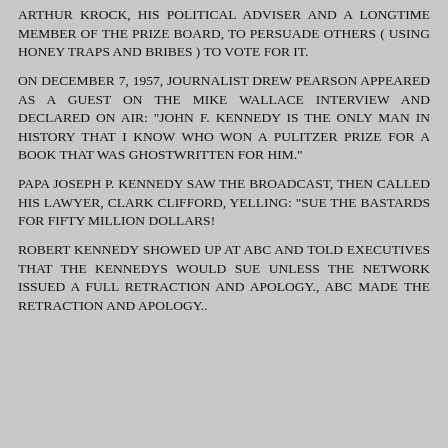ARTHUR KROCK, HIS POLITICAL ADVISER AND A LONGTIME MEMBER OF THE PRIZE BOARD, TO PERSUADE OTHERS ( USING HONEY TRAPS AND BRIBES ) TO VOTE FOR IT.
ON DECEMBER 7, 1957, JOURNALIST DREW PEARSON APPEARED AS A GUEST ON THE MIKE WALLACE INTERVIEW AND DECLARED ON AIR: "JOHN F. KENNEDY IS THE ONLY MAN IN HISTORY THAT I KNOW WHO WON A PULITZER PRIZE FOR A BOOK THAT WAS GHOSTWRITTEN FOR HIM."
PAPA JOSEPH P. KENNEDY SAW THE BROADCAST, THEN CALLED HIS LAWYER, CLARK CLIFFORD, YELLING: "SUE THE BASTARDS FOR FIFTY MILLION DOLLARS!
ROBERT KENNEDY SHOWED UP AT ABC AND TOLD EXECUTIVES THAT THE KENNEDYS WOULD SUE UNLESS THE NETWORK ISSUED A FULL RETRACTION AND APOLOGY., ABC MADE THE RETRACTION AND APOLOGY..